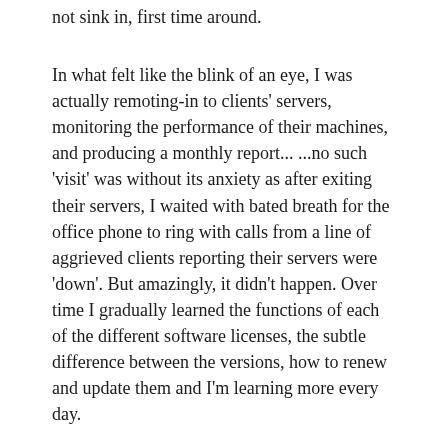not sink in, first time around.
In what felt like the blink of an eye, I was actually remoting-in to clients' servers, monitoring the performance of their machines, and producing a monthly report... ...no such 'visit' was without its anxiety as after exiting their servers, I waited with bated breath for the office phone to ring with calls from a line of aggrieved clients reporting their servers were 'down'. But amazingly, it didn't happen. Over time I gradually learned the functions of each of the different software licenses, the subtle difference between the versions, how to renew and update them and I'm learning more every day.
Then came the crunch point where due to circumstances beyond anyone's control, I had to physically be away for what at first I thought was going to be five months but has since turned out to be a very protracted absence, and after having worked for just four short months in this